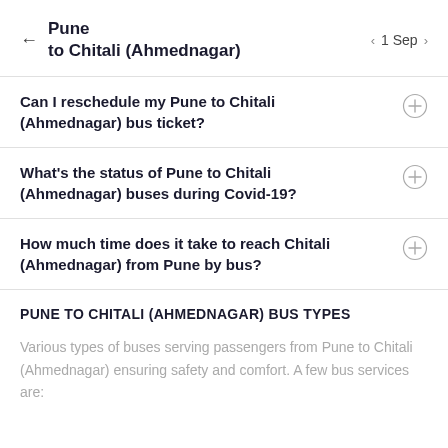Pune to Chitali (Ahmednagar)  ← 1 Sep
Can I reschedule my Pune to Chitali (Ahmednagar) bus ticket?
What's the status of Pune to Chitali (Ahmednagar) buses during Covid-19?
How much time does it take to reach Chitali (Ahmednagar) from Pune by bus?
PUNE TO CHITALI (AHMEDNAGAR) BUS TYPES
Various types of buses serving passengers from Pune to Chitali (Ahmednagar) ensuring safety and comfort. A few bus services are: